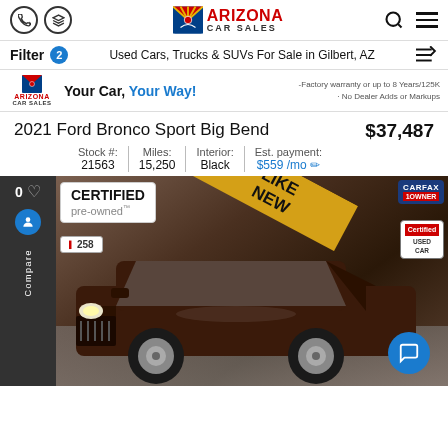Arizona Car Sales
Filter 2 — Used Cars, Trucks & SUVs For Sale in Gilbert, AZ
[Figure (photo): Arizona Car Sales ad banner: Your Car, Your Way! -Factory warranty or up to 8 Years/125K · No Dealer Adds or Markups]
2021 Ford Bronco Sport Big Bend — $37,487
Stock #: 21563 | Miles: 15,250 | Interior: Black | Est. payment: $559 /mo
[Figure (photo): Dark maroon SUV (Ford Bronco Sport Big Bend) on dealership lot. Overlays: CERTIFIED pre-owned badge, dealer number 258, LIKE NEW diagonal banner, CARFAX 1 Owner badge, Certified Used Car badge.]